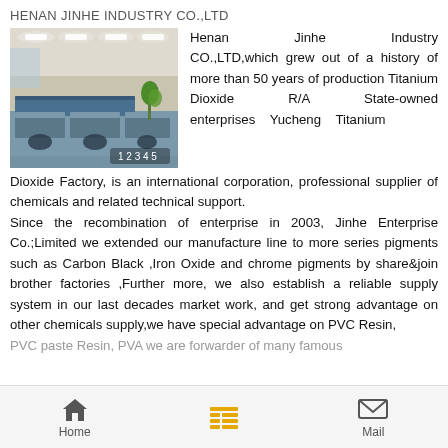HENAN JINHE INDUSTRY CO.,LTD
[Figure (photo): Office interior with desks, chairs, ceiling lights, and a plant. Slide indicators showing '1 2 3 4 5' at bottom right.]
Henan Jinhe Industry CO.,LTD,which grew out of a history of more than 50 years of production Titanium Dioxide R/A State-owned enterprises Yucheng Titanium Dioxide Factory, is an international corporation, professional supplier of chemicals and related technical support. Since the recombination of enterprise in 2003, Jinhe Enterprise Co.;Limited we extended our manufacture line to more series pigments such as Carbon Black ,Iron Oxide and chrome pigments by share&join brother factories ,Further more, we also establish a reliable supply system in our last decades market work, and get strong advantage on other chemicals supply,we have special advantage on PVC Resin, PVC paste Resin, PVA we are forwarder of many famous
Home  Mail